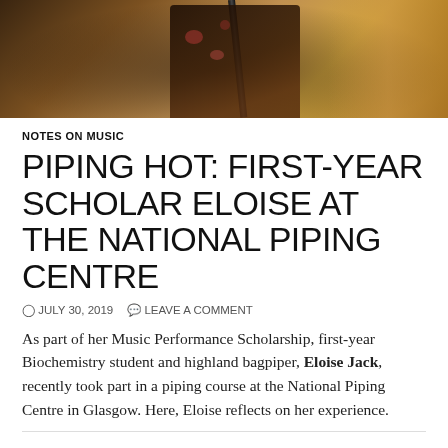[Figure (photo): Photo of a highland bagpiper wearing a dark floral outfit, holding bagpipe drones, warm brown/orange background]
NOTES ON MUSIC
PIPING HOT: FIRST-YEAR SCHOLAR ELOISE AT THE NATIONAL PIPING CENTRE
JULY 30, 2019   LEAVE A COMMENT
As part of her Music Performance Scholarship, first-year Biochemistry student and highland bagpiper, Eloise Jack, recently took part in a piping course at the National Piping Centre in Glasgow. Here, Eloise reflects on her experience.
Thanks to the music scholarship I received from the University,